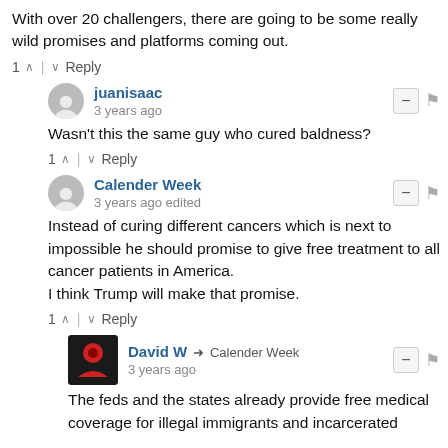With over 20 challengers, there are going to be some really wild promises and platforms coming out.
1 ^ | v Reply
juanisaac • 3 years ago
Wasn't this the same guy who cured baldness?
1 ^ | v Reply
Calender Week • 3 years ago edited
Instead of curing different cancers which is next to impossible he should promise to give free treatment to all cancer patients in America.
I think Trump will make that promise.
1 ^ | v Reply
David W → Calender Week • 3 years ago
The feds and the states already provide free medical coverage for illegal immigrants and incarcerated